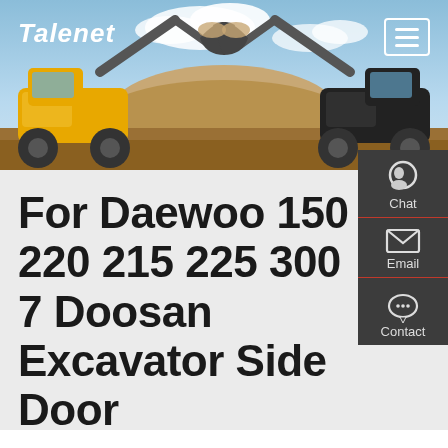[Figure (photo): Talenet website header showing two yellow wheel loaders facing each other with raised buckets against a blue sky with sand dune background]
Talenet
[Figure (screenshot): Right sidebar with Chat, Email, and Contact icons on dark grey background]
For Daewoo 150 220 215 225 300 7 Doosan Excavator Side Door